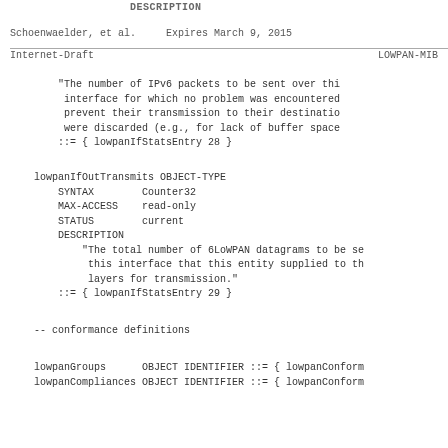DESCRIPTION
Schoenwaelder, et al.     Expires March 9, 2015
Internet-Draft                        LOWPAN-MIB
"The number of IPv6 packets to be sent over thi interface for which no problem was encountered prevent their transmission to their destinatio were discarded (e.g., for lack of buffer space ::= { lowpanIfStatsEntry 28 }
lowpanIfOutTransmits OBJECT-TYPE
    SYNTAX        Counter32
    MAX-ACCESS    read-only
    STATUS        current
    DESCRIPTION
        "The total number of 6LoWPAN datagrams to be se this interface that this entity supplied to th layers for transmission."
    ::= { lowpanIfStatsEntry 29 }
-- conformance definitions
lowpanGroups      OBJECT IDENTIFIER ::= { lowpanConform
lowpanCompliances OBJECT IDENTIFIER ::= { lowpanConform